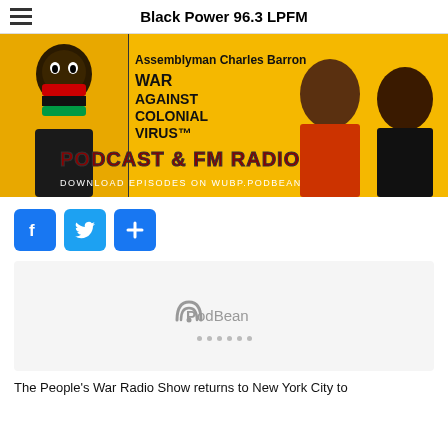Black Power 96.3 LPFM
[Figure (illustration): War Against Colonial Virus Podcast & FM Radio promotional banner with Assemblyman Charles Barron, featuring a masked figure with Pan-African colors, text 'WAR AGAINST COLONIAL VIRUS PODCAST & FM RADIO' and 'DOWNLOAD EPISODES ON WUBP.PODBEAN.COM' on yellow background]
[Figure (other): Social sharing buttons: Facebook (blue F), Twitter (blue bird), and Share/Add (blue plus) icon buttons]
[Figure (screenshot): PodBean embedded podcast player with gray background showing PodBean logo and loading dots]
The People's War Radio Show returns to New York City to